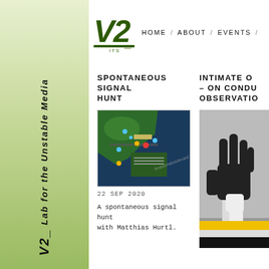[Figure (logo): V2_ logo in dark green with angular stylized text]
HOME / ABOUT / EVENTS /
[Figure (illustration): Vertical sidebar rotated text: V2_ Lab for the Unstable Media]
SPONTANEOUS SIGNAL HUNT
[Figure (photo): Aerial/satellite map view of a coastal area with location pins]
22 SEP 2020
A spontaneous signal hunt with Matthias Hurtl.
INTIMATE O... – ON CONDU... OBSERVATION...
[Figure (photo): Black and white photo of a robotic/mechanical hand raised upward, with yellow stripe accent at bottom]